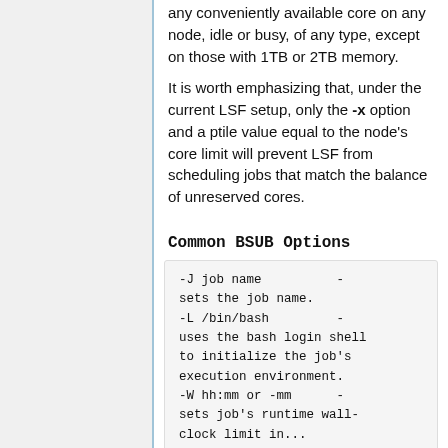any conveniently available core on any node, idle or busy, of any type, except on those with 1TB or 2TB memory.
It is worth emphasizing that, under the current LSF setup, only the -x option and a ptile value equal to the node's core limit will prevent LSF from scheduling jobs that match the balance of unreserved cores.
Common BSUB Options
-J job name          -
sets the job name.
-L /bin/bash         -
uses the bash login shell
to initialize the job's
execution environment.
-W hh:mm or -mm      -
sets job's runtime wall-
clock limit in...